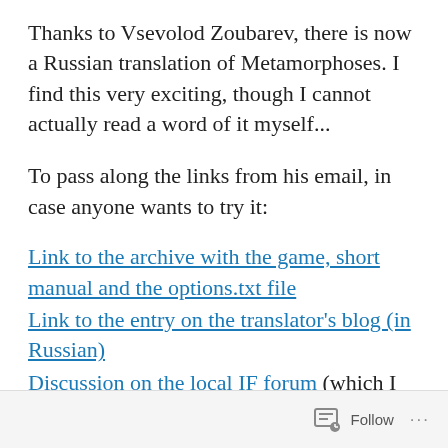Thanks to Vsevolod Zoubarev, there is now a Russian translation of Metamorphoses. I find this very exciting, though I cannot actually read a word of it myself...
To pass along the links from his email, in case anyone wants to try it:
Link to the archive with the game, short manual and the options.txt file
Link to the entry on the translator's blog (in Russian)
Discussion on the local IF forum (which I can sort of make out with Google Translate...)
Follow ...